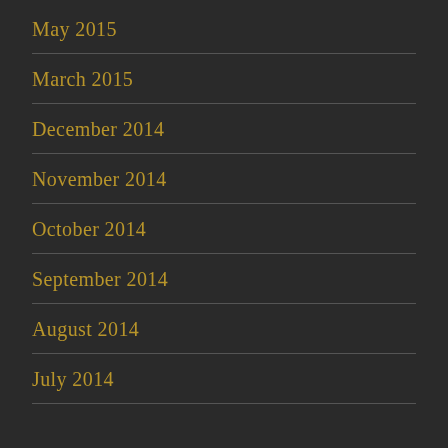May 2015
March 2015
December 2014
November 2014
October 2014
September 2014
August 2014
July 2014